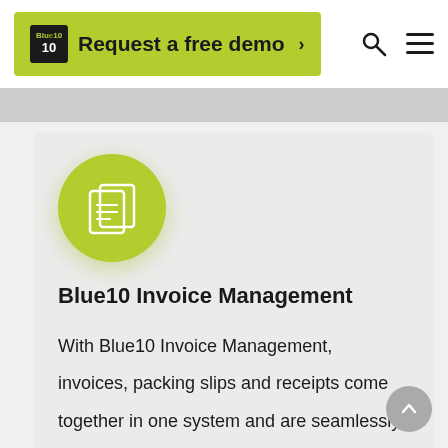Request a free demo
[Figure (logo): Blue10 invoice management icon — white document/filing icon on a yellow-green circle]
Blue10 Invoice Management
With Blue10 Invoice Management, invoices, packing slips and receipts come together in one system and are seamlessly incorporated into the financial administration. In addition,